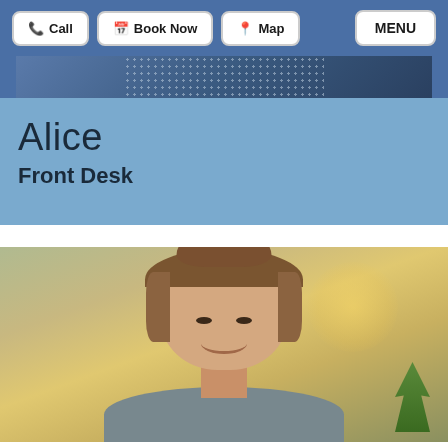Call  Book Now  Map  MENU
[Figure (photo): Cropped top portion of a profile photo showing decorative pattern/texture background in blue tones]
Alice
Front Desk
[Figure (photo): Portrait photo of Alice, a smiling woman with curly brown hair pulled up, wearing dark clothing, photographed in a warm-lit office/clinic setting with a green plant visible in the background]